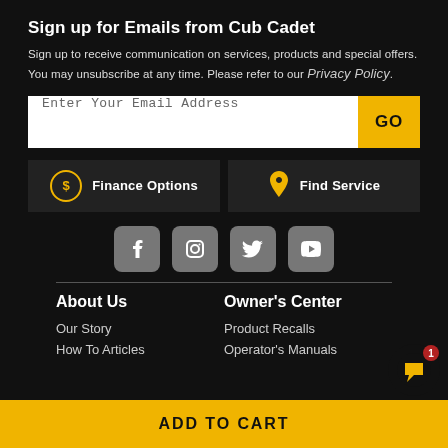Sign up for Emails from Cub Cadet
Sign up to receive communication on services, products and special offers. You may unsubscribe at any time. Please refer to our Privacy Policy.
Enter Your Email Address
GO
Finance Options
Find Service
[Figure (infographic): Social media icons: Facebook, Instagram, Twitter, YouTube]
About Us
Owner's Center
Our Story
How To Articles
Product Recalls
Operator's Manuals
ADD TO CART